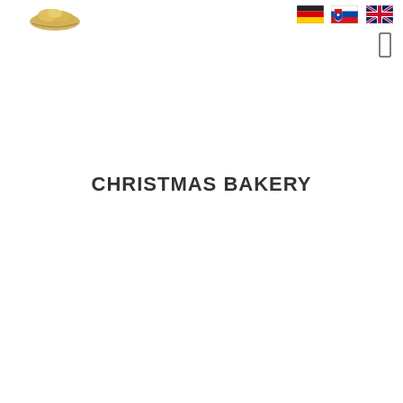[Figure (logo): Gold/yellow illustrated bakery or food logo in the top-left corner]
[Figure (logo): German flag icon (black, red, gold horizontal stripes)]
[Figure (logo): Slovak flag icon (white, blue, red with shield)]
[Figure (logo): UK flag icon (Union Jack)]
[Figure (other): Vertical rectangular button/icon outline in top-right area]
CHRISTMAS BAKERY